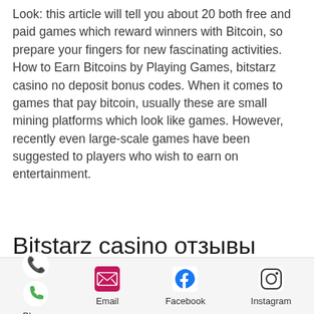Look: this article will tell you about 20 both free and paid games which reward winners with Bitcoin, so prepare your fingers for new fascinating activities. How to Earn Bitcoins by Playing Games, bitstarz casino no deposit bonus codes. When it comes to games that pay bitcoin, usually these are small mining platforms which look like games. However, recently even large-scale games have been suggested to players who wish to earn on entertainment.
Bitstarz casino отзывы
Many online casinos don't offer no deposit bonuses but we have bagged you an exclusive 30 free spins on the. Another main benefit of cryptocurrency gambling at sports activities betting web sites is that transactions do not show up in your bank
Phone | Email | Facebook | Instagram